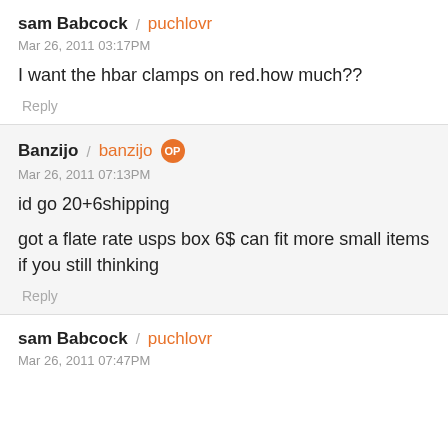sam Babcock / puchlovr
Mar 26, 2011 03:17PM
I want the hbar clamps on red.how much??
Reply
Banzijo / banzijo OP
Mar 26, 2011 07:13PM
id go 20+6shipping
got a flate rate usps box 6$ can fit more small items if you still thinking
Reply
sam Babcock / puchlovr
Mar 26, 2011 07:47PM